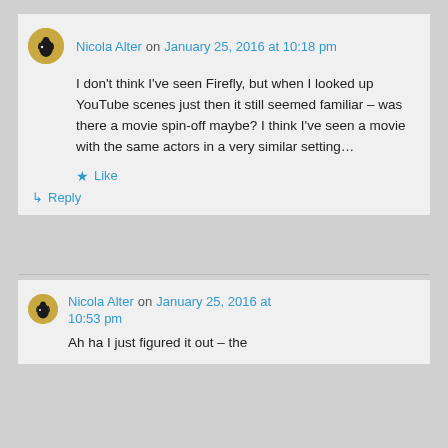Nicola Alter on January 25, 2016 at 10:18 pm
I don't think I've seen Firefly, but when I looked up YouTube scenes just then it still seemed familiar – was there a movie spin-off maybe? I think I've seen a movie with the same actors in a very similar setting…
Like
Reply
Nicola Alter on January 25, 2016 at 10:53 pm
Ah ha I just figured it out – the